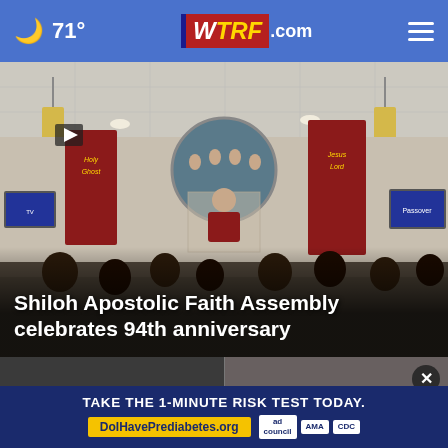71° WTRF.com
[Figure (photo): Interior of Shiloh Apostolic Faith Assembly church during a service. A minister in red robes stands at a pulpit at the center, congregation seated in pews facing forward. Red banners hang on walls, pendant lights illuminate the room, TV screens on side walls. Choir mural visible in circle above pulpit.]
Shiloh Apostolic Faith Assembly celebrates 94th anniversary
[Figure (screenshot): Two video thumbnail images side by side with play buttons, part of a news website interface. A close (X) button appears on upper right of right thumbnail.]
TAKE THE 1-MINUTE RISK TEST TODAY.
DoIHavePrediabetes.org
ad council  AMA  CDC